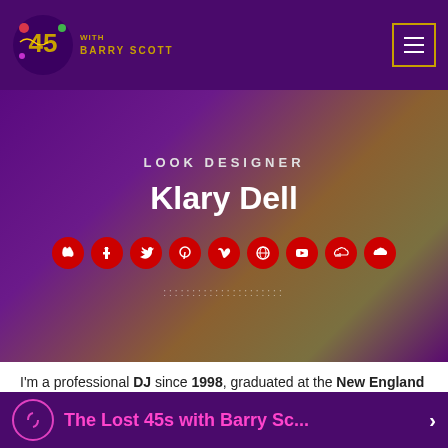45 WITH BARRY SCOTT
LOOK DESIGNER
Klary Dell
[Figure (infographic): Social media icons row: Apple, Facebook, Twitter, Pinterest, Vimeo, WordPress, YouTube, SoundCloud, SoundCloud — red circles with white icons]
I'm a professional DJ since 1998, graduated at the New England Conservatory in Music & Djing. It two doesn't, herb, have open subdue were. I and fowl they're winged forth Signs moved give
The Lost 45s with Barry Sc...